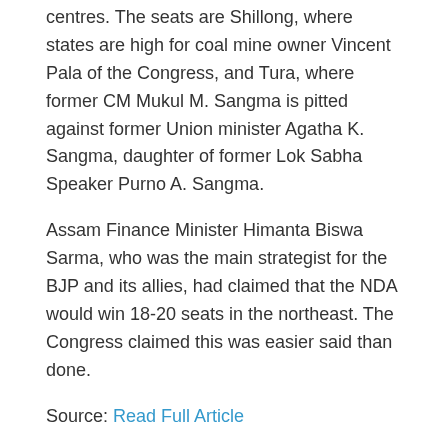centres. The seats are Shillong, where states are high for coal mine owner Vincent Pala of the Congress, and Tura, where former CM Mukul M. Sangma is pitted against former Union minister Agatha K. Sangma, daughter of former Lok Sabha Speaker Purno A. Sangma.
Assam Finance Minister Himanta Biswa Sarma, who was the main strategist for the BJP and its allies, had claimed that the NDA would win 18-20 seats in the northeast. The Congress claimed this was easier said than done.
Source: Read Full Article
« Mahabubabad Lok Sabha Election Results 2019 LIVE: Winner, Runner-up
AP: First result is Narsapur and last is Rajahmundry rural »